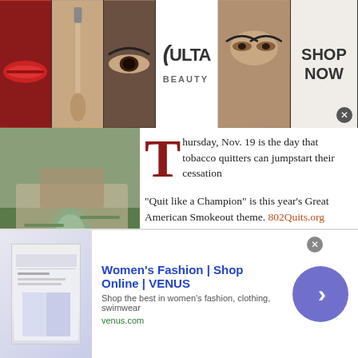[Figure (photo): Top banner advertisement for ULTA Beauty showing makeup images (lips, brush, eye makeup, ULTA logo, model eyes) with SHOP NOW text]
[Figure (photo): Left sidebar photo of outdoor patio/garden area with table and chairs, contact info overlay: 802-875-1311, terrigenous.com]
[Figure (logo): Green advertisement with white geometric diamond/cross logo pattern]
Thursday, Nov. 19 is the day that tobacco quitters can jumpstart their cessation
"Quit like a Champion" is this year's Great American Smokeout theme. 802Quits.org provides free tools, patches and gum and to quit successfully.
The Collaborative is partnering with area businesses and organizations to provide resources. Maplefields in Manchester and Neighborhood Connections in Londonderry be providing resources and 802Quits support.
[Figure (photo): Bottom banner advertisement for Women's Fashion | Shop Online | VENUS showing fashion website screenshot and blue circle arrow button]
Women's Fashion | Shop Online | VENUS - Shop the best in women's fashion, clothing, swimwear - venus.com